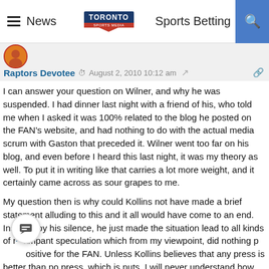News | Toronto Sports Media | Sports Betting
Raptors Devotee  August 2, 2010 10:12 am
I can answer your question on Wilner, and why he was suspended. I had dinner last night with a friend of his, who told me when I asked it was 100% related to the blog he posted on the FAN's website, and had nothing to do with the actual media scrum with Gaston that preceded it. Wilner went too far on his blog, and even before I heard this last night, it was my theory as well. To put it in writing like that carries a lot more weight, and it certainly came across as sour grapes to me.

My question then is why could Kollins not have made a brief statement alluding to this and it all would have come to an end. Instead, by his silence, he just made the situation lead to all kinds of rampant speculation which from my viewpoint, did nothing positive for the FAN. Unless Kollins believes that any press is better than no press, which is nuts, I will never understand how he